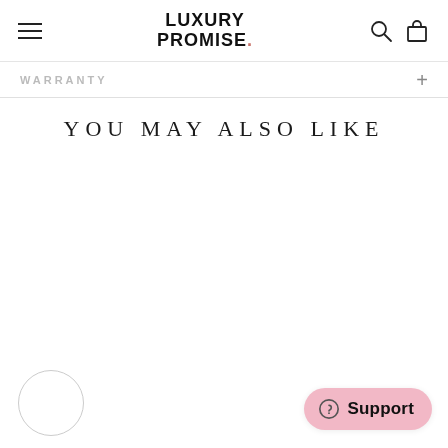LUXURY PROMISE.
WARRANTY
YOU MAY ALSO LIKE
[Figure (other): Empty product listing area below 'You May Also Like' heading]
[Figure (other): Circular button/avatar element at bottom left]
[Figure (other): Pink Support chat button at bottom right with question mark icon]